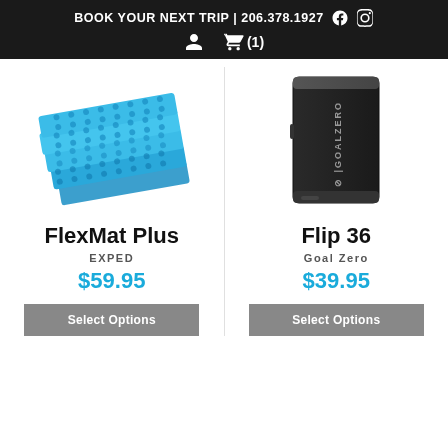BOOK YOUR NEXT TRIP | 206.378.1927
[Figure (illustration): Blue folded foam camping mat (FlexMat Plus by EXPED)]
[Figure (illustration): Black rectangular portable charger (Flip 36 by Goal Zero)]
FlexMat Plus
EXPED
$59.95
Flip 36
Goal Zero
$39.95